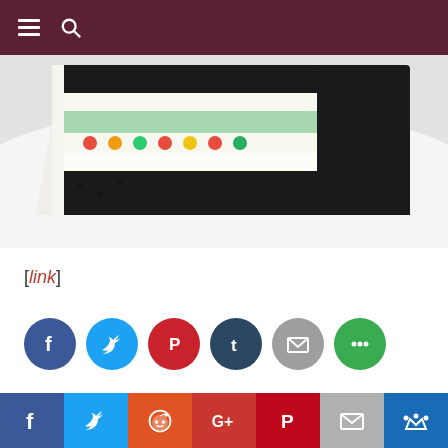[navigation bar with hamburger menu and search icon]
[Figure (photo): Close-up photo of a slice of layered cake with dark chocolate crumb coating, mint green and white cream layers, and colorful gummy bear decorations on a white plate.]
[link]
[Figure (infographic): Row of 6 social share buttons: Facebook (blue circle), Twitter (light blue circle), Pinterest (red circle), Tumblr (dark navy circle), Email (grey circle), More (green circle)]
Filed Under: Daily Links
Tagged With: cake, dessert, gummi, gummy bears
Bottom share bar: Facebook, Twitter, Reddit, Google+, Pinterest, Email, More